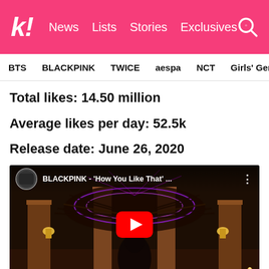k! News  Lists  Stories  Exclusives
BTS   BLACKPINK   TWICE   aespa   NCT   Girls' Generation
Total likes: 14.50 million
Average likes per day: 52.5k
Release date: June 26, 2020
[Figure (screenshot): YouTube video thumbnail for BLACKPINK - 'How You Like That' music video, showing a dark scenic background with glowing wings and a performer, with a red YouTube play button in the center.]